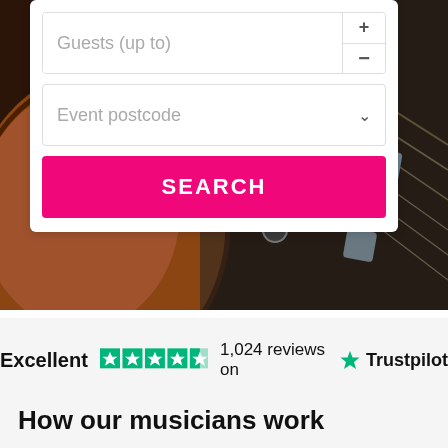[Figure (photo): Close-up photo of guitar strings and bridge/fretboard area, warm brown and dark tones, showing string details and fret markers]
Guests (up to)
Event postcode
SEARCH
Excellent   1,024 reviews on   Trustpilot
How our musicians work